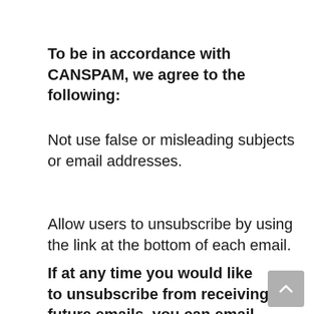To be in accordance with CANSPAM, we agree to the following:
Not use false or misleading subjects or email addresses.
Allow users to unsubscribe by using the link at the bottom of each email.
If at any time you would like to unsubscribe from receiving future emails, you can email us at